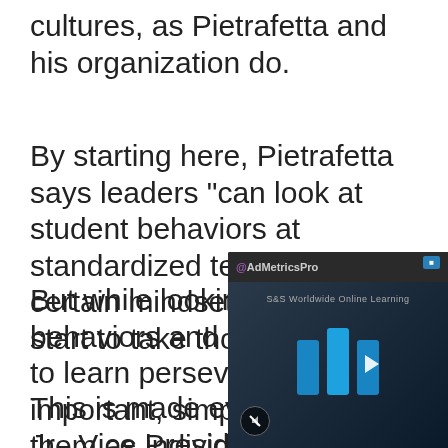cultures, as Pietrafetta and his organization do.
By starting here, Pietrafetta says leaders "can look at student behaviors at standardized tests and get certain mindset factors [to] start to take those on."
But while looking at student behaviors and helping them to learn perseverance is important, simply defining them as individuals who are with or without grit might be detrim[ental].
This is made evid[ent by] Jr., Vice Presiden[t] and Chief Acade[mic Officer of] Academies. Urba[n] partner of Acade[mies].
[Figure (screenshot): Ad overlay showing AdMetricsPro advertisement with S&S Worldwide Online Learning logo featuring blue streaming bars and a play button, with mute icon at bottom left]